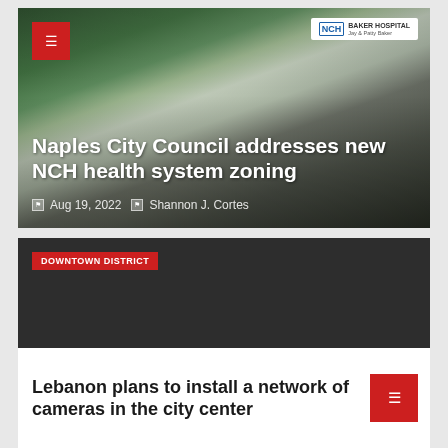[Figure (photo): Photo of NCH Baker Hospital exterior with palm trees and a white car parked outside. NCH logo visible on building sign in upper right.]
Naples City Council addresses new NCH health system zoning
Aug 19, 2022  Shannon J. Cortes
[Figure (photo): Dark card with DOWNTOWN DISTRICT badge and a red bookmark icon at lower left.]
Lebanon plans to install a network of cameras in the city center